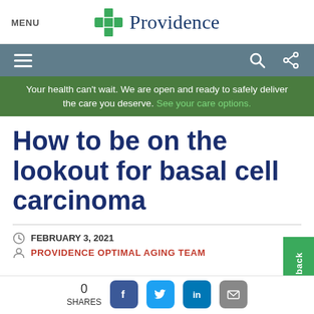MENU | Providence
[Figure (logo): Providence health system logo with green cross and blue text]
[Figure (screenshot): Navigation bar with hamburger menu, search icon, and share icon on gray background]
Your health can't wait. We are open and ready to safely deliver the care you deserve. See your care options.
How to be on the lookout for basal cell carcinoma
FEBRUARY 3, 2021
PROVIDENCE OPTIMAL AGING TEAM
0 SHARES [Facebook] [Twitter] [LinkedIn] [Email]